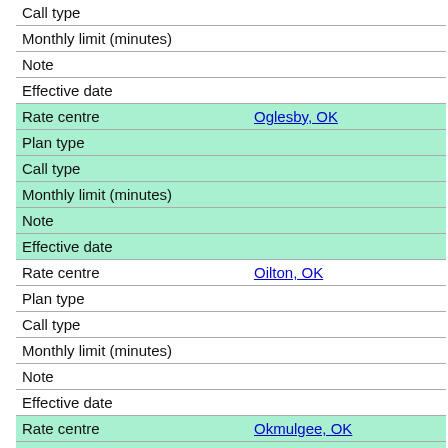| Call type |  |
| Monthly limit (minutes) |  |
| Note |  |
| Effective date |  |
| Rate centre | Oglesby, OK |
| Plan type |  |
| Call type |  |
| Monthly limit (minutes) |  |
| Note |  |
| Effective date |  |
| Rate centre | Oilton, OK |
| Plan type |  |
| Call type |  |
| Monthly limit (minutes) |  |
| Note |  |
| Effective date |  |
| Rate centre | Okmulgee, OK |
| Plan type |  |
| Call type |  |
| Monthly limit (minutes) |  |
| Note |  |
| Effective date |  |